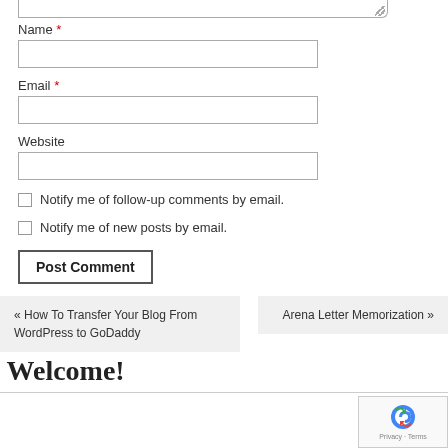[textarea bottom edge]
Name *
Email *
Website
Notify me of follow-up comments by email.
Notify me of new posts by email.
Post Comment
« How To Transfer Your Blog From WordPress to GoDaddy
Arena Letter Memorization »
Welcome!
[Figure (logo): reCAPTCHA badge with Google logo, Privacy and Terms links]